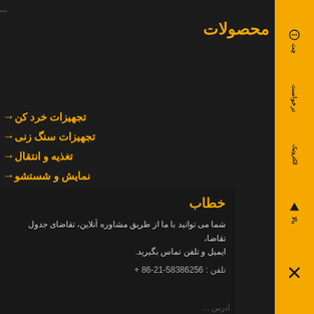محصولات
→ تجهیزات خرد کن
→ تجهیزات سنگ زنی
→ تغذیه و انتقال
→ نمایش و شستشو
→ قابل حمل و موبایل
→ تجهیزات بهره برداری
خطاب
شما می توانید با ما از طریق مشاوره آنلاین، تقاضای جدول تقاضا، ایمیل و تلفن تماس بگیرید.
تلفن: + 86-21-58386256